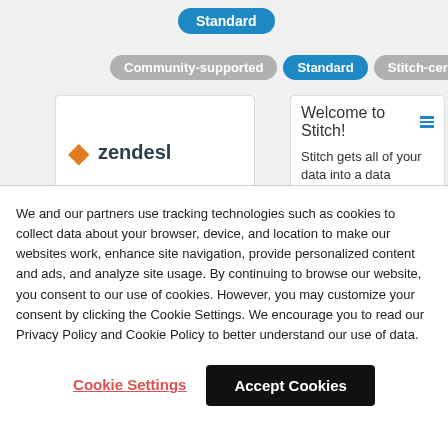[Figure (screenshot): App interface showing filter buttons: Standard (blue, top), Community-supported (gray), Standard (blue, middle), Stitch-certified (gray), with X close button]
Welcome to Stitch! Stitch gets all of your data into a data warehouse in minutes. Ready to get started?
We and our partners use tracking technologies such as cookies to collect data about your browser, device, and location to make our websites work, enhance site navigation, provide personalized content and ads, and analyze site usage. By continuing to browse our website, you consent to our use of cookies. However, you may customize your consent by clicking the Cookie Settings. We encourage you to read our Privacy Policy and Cookie Policy to better understand our use of data.
Cookie Settings
Accept Cookies